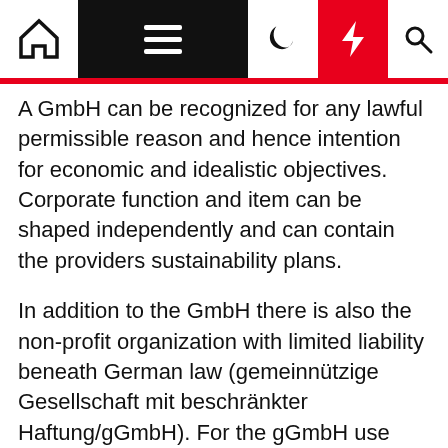Navigation bar with home, menu, dark mode, lightning, and search icons
A GmbH can be recognized for any lawful permissible reason and hence intention for economic and idealistic objectives. Corporate function and item can be shaped independently and can contain the providers sustainability plans.
In addition to the GmbH there is also the non-profit organization with limited liability beneath German law (gemeinnützige Gesellschaft mit beschränkter Haftung/gGmbH). For the gGmbH use more durable principles than for the GmbH – accordingly, the gGmbH is not thought of by most founders.
The German entrepreneurial corporation with limited liability (Unternehmensgesellschaft (haftungsbeschränkt)/UG (haftungsbeschränkt)) is an additional option to the GmbH. The only change is that the UG's share cash may perhaps fall down